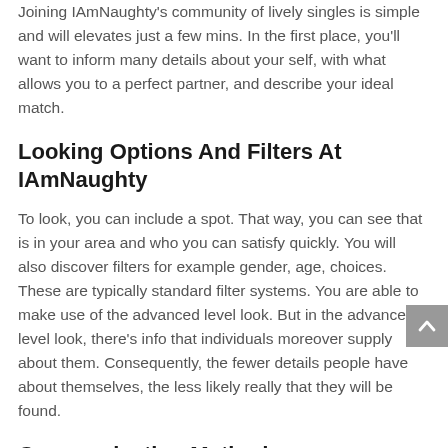Joining IAmNaughty's community of lively singles is simple and will elevates just a few mins. In the first place, you'll want to inform many details about your self, with what allows you to a perfect partner, and describe your ideal match.
Looking Options And Filters At IAmNaughty
To look, you can include a spot. That way, you can see that is in your area and who you can satisfy quickly. You will also discover filters for example gender, age, choices. These are typically standard filter systems. You are able to make use of the advanced level look. But in the advanced level look, there's info that individuals moreover supply about them. Consequently, the fewer details people have about themselves, the less likely really that they will be found.
Communication Methods